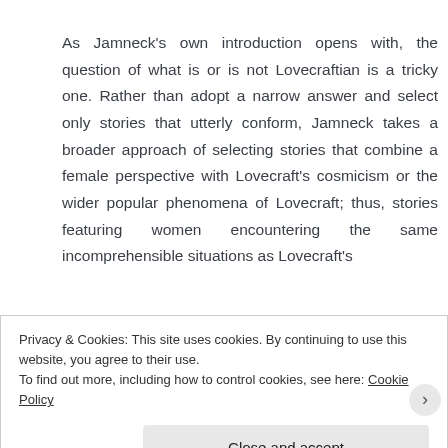As Jamneck's own introduction opens with, the question of what is or is not Lovecraftian is a tricky one. Rather than adopt a narrow answer and select only stories that utterly conform, Jamneck takes a broader approach of selecting stories that combine a female perspective with Lovecraft's cosmicism or the wider popular phenomena of Lovecraft; thus, stories featuring women encountering the same incomprehensible situations as Lovecraft's
Privacy & Cookies: This site uses cookies. By continuing to use this website, you agree to their use.
To find out more, including how to control cookies, see here: Cookie Policy
Close and accept